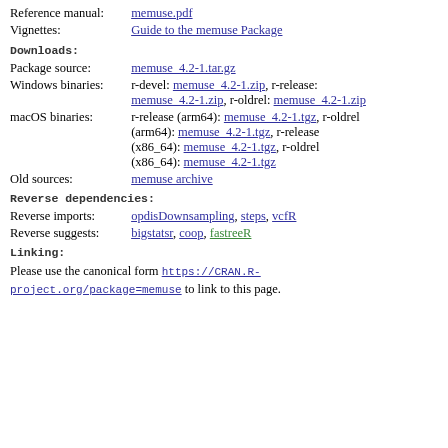Reference manual: memuse.pdf
Vignettes: Guide to the memuse Package
Downloads:
Package source: memuse_4.2-1.tar.gz
Windows binaries: r-devel: memuse_4.2-1.zip, r-release: memuse_4.2-1.zip, r-oldrel: memuse_4.2-1.zip
macOS binaries: r-release (arm64): memuse_4.2-1.tgz, r-oldrel (arm64): memuse_4.2-1.tgz, r-release (x86_64): memuse_4.2-1.tgz, r-oldrel (x86_64): memuse_4.2-1.tgz
Old sources: memuse archive
Reverse dependencies:
Reverse imports: opdisDownsampling, steps, vcfR
Reverse suggests: bigstatsr, coop, fastreeR
Linking:
Please use the canonical form https://CRAN.R-project.org/package=memuse to link to this page.